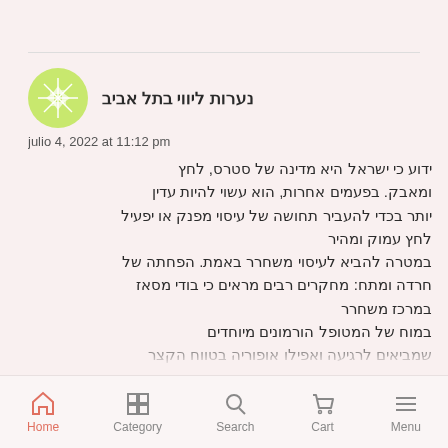[Figure (logo): Green geometric snowflake/star avatar icon for commenter]
נערות ליווי בתל אביב
julio 4, 2022 at 11:12 pm
ידוע כי ישראל היא מדינה של סטרס, לחץ ומאבק. בפעמים אחרות, הוא עשוי להיות עדין יותר בכדי להעביר תחושה של עיסוי מפנק או יפעיל לחץ עמוק ומהיר במטרה להביא לעיסוי משחרר באמת. הפחתה של חרדה ומתח: מחקרים רבים מראים כי בודי מסאז במרכז משחרר במוח של המטופל הורמונים מיוחדים שמביאים לרגיעה ואפילו אופוריה בטווח הקצר ומפחיתם את הסיכון
Home  Category  Search  Cart  Menu